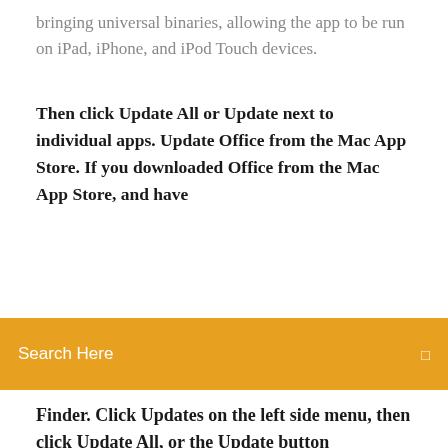bringing universal binaries, allowing the app to be run on iPad, iPhone, and iPod Touch devices.
Then click Update All or Update next to individual apps. Update Office from the Mac App Store. If you downloaded Office from the Mac App Store, and have
Search Here
Finder. Click Updates on the left side menu, then click Update All, or the Update button
How to Update Your MacBook Pro - Lifewire However, older models of the MacBook Pro work in fundamentally the same way, and can support the same software updates. As such, this guide explains how to update all MacBook Pros in general, covering recent and less recent operating systems, and what you should do to … How To Upgrade Your Macbook Air with a SSD … No. The Macbook Air use a special SSD blade that is